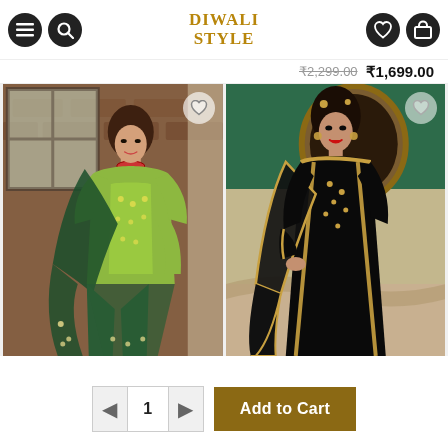Diwali Style - Navigation header with menu, search, wishlist, and cart icons
₹2,299.00  ₹1,699.00
[Figure (photo): Woman in lime green Indian salwar kameez with dark green dupatta, posed against brick wall background]
[Figure (photo): Woman in black Indian anarkali suit with golden border embroidery, posed against green and ornate background]
1  Add to Cart